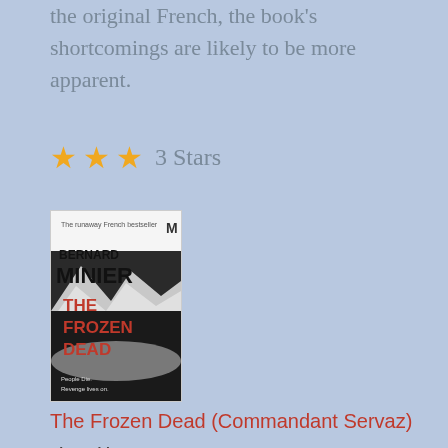the original French, the book's shortcomings are likely to be more apparent.
3 Stars
[Figure (photo): Book cover of 'The Frozen Dead' by Bernard Minier. Shows 'The runaway French bestseller' at top, author name BERNARD MINIER in large black text, title THE FROZEN DEAD in large red text, with a snowy mountain background. Tagline: People Die. Revenge lives on.]
The Frozen Dead (Commandant Servaz)
Share this: